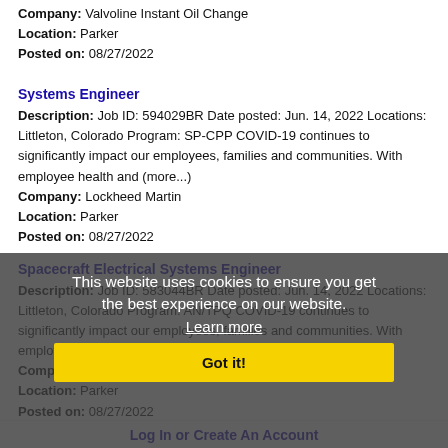Company: Valvoline Instant Oil Change
Location: Parker
Posted on: 08/27/2022
Systems Engineer
Description: Job ID: 594029BR Date posted: Jun. 14, 2022 Locations: Littleton, Colorado Program: SP-CPP COVID-19 continues to significantly impact our employees, families and communities. With employee health and (more...)
Company: Lockheed Martin
Location: Parker
Posted on: 08/27/2022
Spacecraft Electrical Systems Engineer
Description: Job ID: 583044BR Date posted: Jun. 14, 2022 Locations: Littleton, Colorado Program: AN/TPQ COVID-19 continues to significantly impact our employees, families and communities. With employee health and safety (more...)
Company: Lockheed Martin
Location: Parker
Posted on: 08/27/2022
Loading more jobs...
This website uses cookies to ensure you get the best experience on our website. Learn more
Got it!
Log In or Create An Account